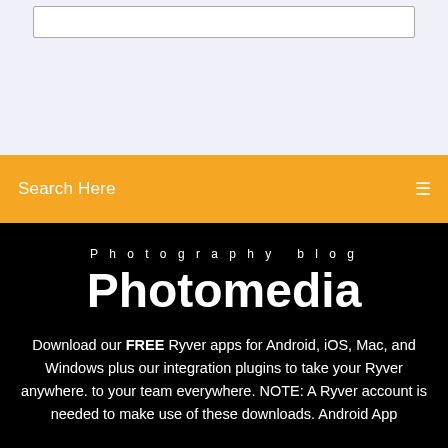[Figure (screenshot): Search input box outline on light lavender background at top of page]
Search Here
Photography blog
Photomedia
Download our FREE Ryver apps for Android, iOS, Mac, and Windows plus our integration plugins to take your Ryver anywhere. to your team everywhere. NOTE: A Ryver account is needed to make use of these downloads. Android App